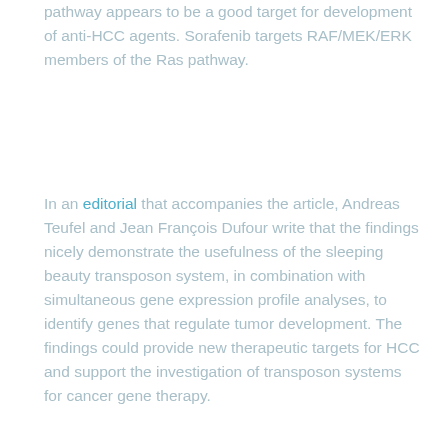pathway appears to be a good target for development of anti-HCC agents. Sorafenib targets RAF/MEK/ERK members of the Ras pathway.
In an editorial that accompanies the article, Andreas Teufel and Jean François Dufour write that the findings nicely demonstrate the usefulness of the sleeping beauty transposon system, in combination with simultaneous gene expression profile analyses, to identify genes that regulate tumor development. The findings could provide new therapeutic targets for HCC and support the investigation of transposon systems for cancer gene therapy.